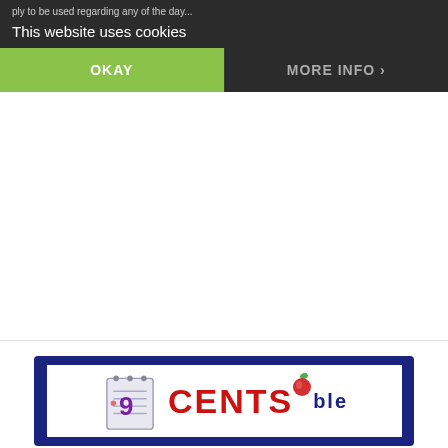This website uses cookies
OKAY
MORE INFO
[Figure (logo): CENTS logo with notepad graphic and apple icon, red bold text on white background with dark blue border]